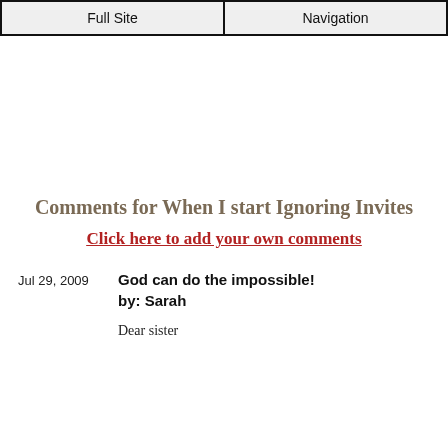Full Site | Navigation
Comments for When I start Ignoring Invites
Click here to add your own comments
Jul 29, 2009   God can do the impossible!
by: Sarah

Dear sister